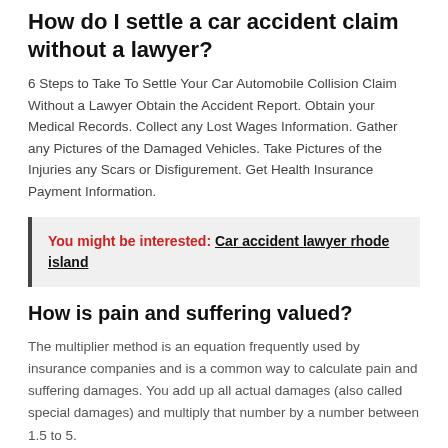How do I settle a car accident claim without a lawyer?
6 Steps to Take To Settle Your Car Automobile Collision Claim Without a Lawyer Obtain the Accident Report. Obtain your Medical Records. Collect any Lost Wages Information. Gather any Pictures of the Damaged Vehicles. Take Pictures of the Injuries any Scars or Disfigurement. Get Health Insurance Payment Information.
You might be interested: Car accident lawyer rhode island
How is pain and suffering valued?
The multiplier method is an equation frequently used by insurance companies and is a common way to calculate pain and suffering damages. You add up all actual damages (also called special damages) and multiply that number by a number between 1.5 to 5.